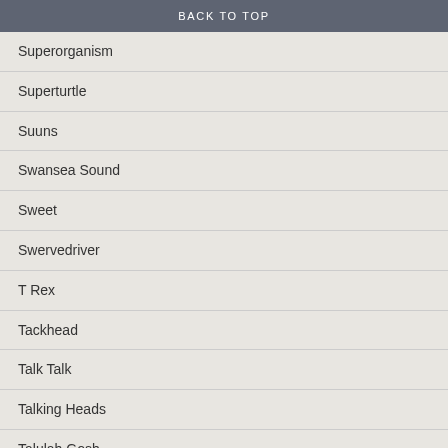BACK TO TOP
Superorganism
Superturtle
Suuns
Swansea Sound
Sweet
Swervedriver
T Rex
Tackhead
Talk Talk
Talking Heads
Talulah Gosh
Taylor Swift
Teardrop Explodes